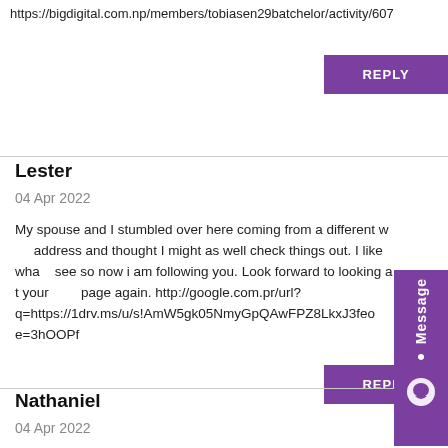https://bigdigital.com.np/members/tobiasen29batchelor/activity/607
REPLY
Lester
04 Apr 2022
My spouse and I stumbled over here coming from a different web address and thought I might as well check things out. I like what I see so now i am following you. Look forward to looking at your web page again. http://google.com.pr/url?q=https://1drv.ms/u/s!AmW5gk05NmyGpQAwFPZ8LkxJ3feo1e=3hOOPf
REPLY
Nathaniel
04 Apr 2022
My husband and i ended up being quite happy when Jordan could deal with his researching through the entire precious recommendations he discovered through your web site. It is now